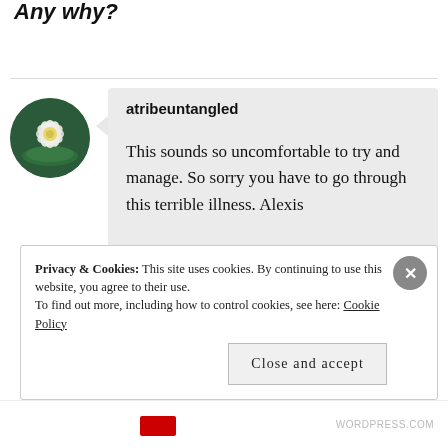Any why?
atribeuntangled
This sounds so uncomfortable to try and manage. So sorry you have to go through this terrible illness. Alexis
Privacy & Cookies: This site uses cookies. By continuing to use this website, you agree to their use.
To find out more, including how to control cookies, see here: Cookie Policy
Close and accept